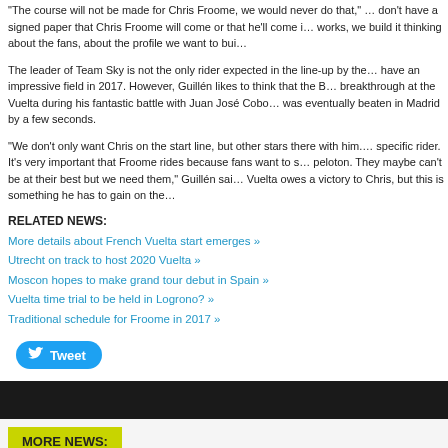"The course will not be made for Chris Froome, we would never do that," ... don't have a signed paper that Chris Froome will come or that he'll come i... works, we build it thinking about the fans, about the profile we want to bui...
The leader of Team Sky is not the only rider expected in the line-up by the... have an impressive field in 2017. However, Guillén likes to think that the B... breakthrough at the Vuelta during his fantastic battle with Juan José Cobo... was eventually beaten in Madrid by a few seconds.
"We don't only want Chris on the start line, but other stars there with him.... specific rider. It's very important that Froome rides because fans want to s... peloton. They maybe can't be at their best but we need them," Guillén sai... Vuelta owes a victory to Chris, but this is something he has to gain on the...
RELATED NEWS:
More details about French Vuelta start emerges »
Utrecht on track to host 2020 Vuelta »
Moscon hopes to make grand tour debut in Spain »
Vuelta time trial to be held in Logrono? »
Traditional schedule for Froome in 2017 »
Tweet
MORE NEWS:
The Best Danish Cyclist To Bet On At 2022 Tour De France »
2022 Upcoming Tournament Overview »